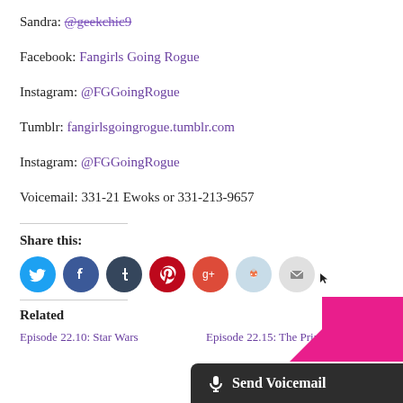Sandra: @geekchic9
Facebook: Fangirls Going Rogue
Instagram: @FGGoingRogue
Tumblr: fangirlsgoingrogue.tumblr.com
Instagram: @FGGoingRogue
Voicemail: 331-21 Ewoks or 331-213-9657
Share this:
[Figure (other): Row of social share icon buttons: Twitter (blue), Facebook (dark blue), Tumblr (dark navy), Pinterest (red), Google+ (red-orange), Reddit (light blue), Email (gray)]
Related
Episode 22.10: Star Wars
Episode 22.15: The Princess